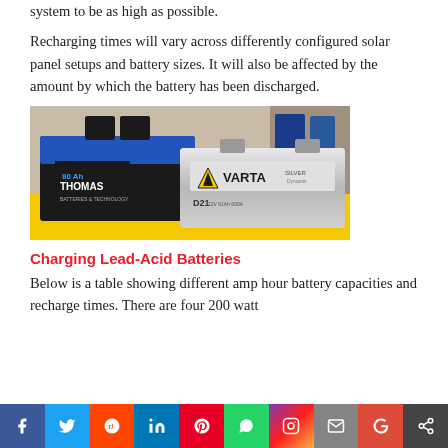system to be as high as possible.
Recharging times will vary across differently configured solar panel setups and battery sizes. It will also be affected by the amount by which the battery has been discharged.
[Figure (photo): Photo of two car batteries on a yellow shelf in a store: a black Thomas battery (80 Ah) on the left and a silver VARTA Silver D21 battery on the right, with store shelving visible in the background.]
Charging Lead-Acid Batteries
Below is a table showing different amp hour battery capacities and recharge times. There are four 200 watt solar panels and we assume a 50% battery discharge.